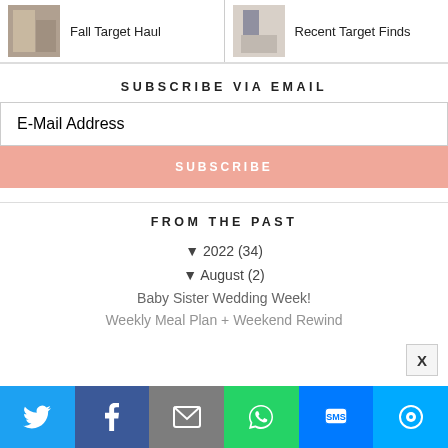[Figure (photo): Thumbnail image for Fall Target Haul post - person in a store]
Fall Target Haul
[Figure (photo): Thumbnail image for Recent Target Finds post - person in patterned outfit]
Recent Target Finds
SUBSCRIBE VIA EMAIL
E-Mail Address
SUBSCRIBE
FROM THE PAST
▼ 2022 (34)
▼ August (2)
Baby Sister Wedding Week!
Weekly Meal Plan + Weekend Rewind